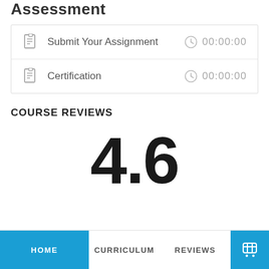Assessment
Submit Your Assignment  00:00:00
Certification  00:00:00
COURSE REVIEWS
4.6
HOME  CURRICULUM  REVIEWS